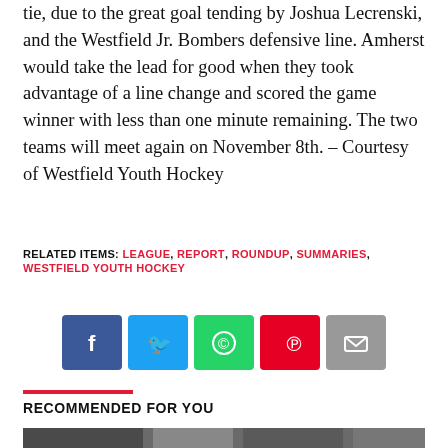tie, due to the great goal tending by Joshua Lecrenski, and the Westfield Jr. Bombers defensive line. Amherst would take the lead for good when they took advantage of a line change and scored the game winner with less than one minute remaining. The two teams will meet again on November 8th. – Courtesy of Westfield Youth Hockey
RELATED ITEMS: LEAGUE, REPORT, ROUNDUP, SUMMARIES, WESTFIELD YOUTH HOCKEY
[Figure (other): Social share buttons: Facebook (blue), Twitter (light blue), WhatsApp (green), Pinterest (red), Email (grey)]
RECOMMENDED FOR YOU
[Figure (photo): Group of people wearing masks, likely at an ice rink or sports facility]